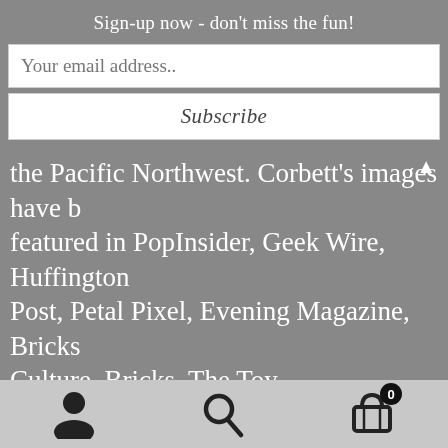Sign-up now - don't miss the fun!
Your email address..
Subscribe
the Pacific Northwest. Corbett's images have been featured in PopInsider, Geek Wire, Huffington Post, Petal Pixel, Evening Magazine, Bricks Culture, Bricks, The Toy Chronicle, Shutterbug and Seattle Refined.

Shelly is honored to be a LensBaby Ambassador. Many of the images you see on this website have been taken with this fun and creative line of
[Figure (other): Bottom navigation bar with user icon, search icon, and shopping cart icon with badge showing 0]